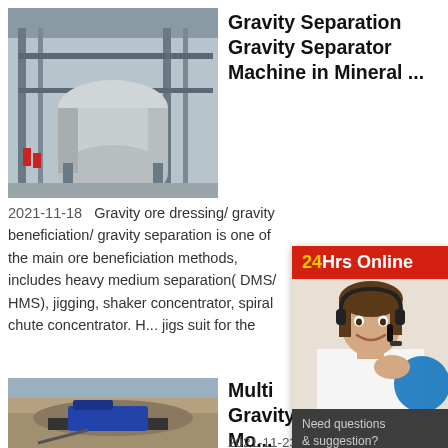[Figure (photo): Industrial gravity separator machine in a factory setting with large cylindrical drum on metal framework]
Gravity Separation Gravity Separator Machine in Mineral ...
2021-11-18   Gravity ore dressing/ gravity beneficiation/ gravity separation is one of the main ore beneficiation methods, includes heavy medium separation( DMS/ HMS), jigging, shaker concentrator, spiral chute concentrator. H... jigs suit for the
[Figure (photo): Aerial view of a multi gravity mobile drum mining site outdoor]
Multi Gravity Mo... Drum - 911...
2021-11-23
911MPEC90...
[Figure (photo): 24Hrs Online chat support agent - woman with headset smiling, with chat now and enquire buttons]
24Hrs Online
Need questions & suggestion?
Chat Now
Enquire